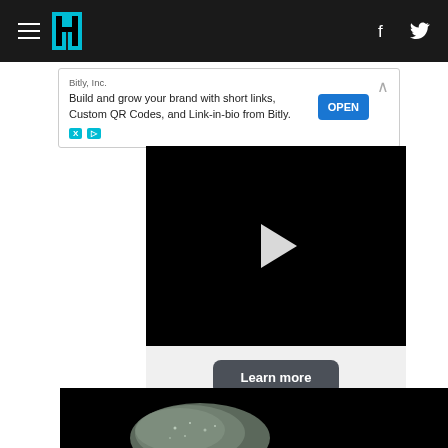Navigation bar with hamburger menu, HuffPost logo, Facebook and Twitter icons
[Figure (screenshot): Advertisement banner from Bitly, Inc. with text 'Build and grow your brand with short links, Custom QR Codes, and Link-in-bio from Bitly.' with an OPEN button]
[Figure (screenshot): Black video player with a white play button triangle in the center, with a Learn more button below]
[Figure (photo): Dark background photo showing a greenish-gray rock or meteorite specimen]